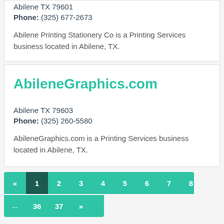Abilene TX 79601
Phone: (325) 677-2673
Abilene Printing Stationery Co is a Printing Services business located in Abilene, TX.
AbileneGraphics.com
Abilene TX 79603
Phone: (325) 260-5580
AbileneGraphics.com is a Printing Services business located in Abilene, TX.
« 1 2 3 4 5 6 7 8 ... 36 37 »